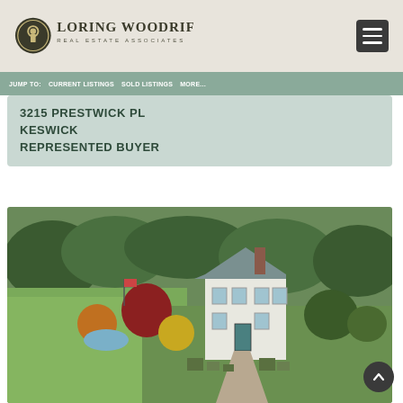Loring Woodriff Real Estate Associates
JUMP TO:  CURRENT LISTINGS  SOLD LISTINGS  MORE...
3215 PRESTWICK PL
KESWICK
REPRESENTED BUYER
[Figure (photo): Aerial drone photo of a white colonial-style home surrounded by lush green gardens, trees, and landscaped grounds in Keswick, Virginia.]